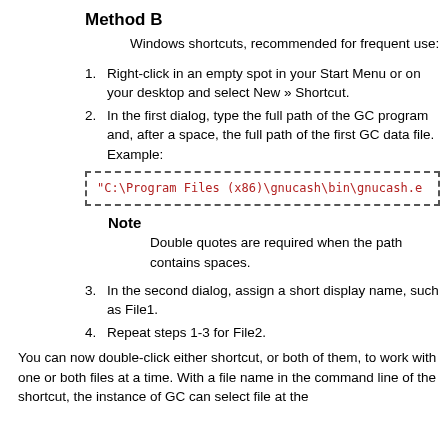Method B
Windows shortcuts, recommended for frequent use:
Right-click in an empty spot in your Start Menu or on your desktop and select New » Shortcut.
In the first dialog, type the full path of the GC program and, after a space, the full path of the first GC data file. Example:
"C:\Program Files (x86)\gnucash\bin\gnucash.e
Note
Double quotes are required when the path contains spaces.
In the second dialog, assign a short display name, such as File1.
Repeat steps 1-3 for File2.
You can now double-click either shortcut, or both of them, to work with one or both files at a time. With a file name in the command line of the shortcut, the instance of GC can select file at the